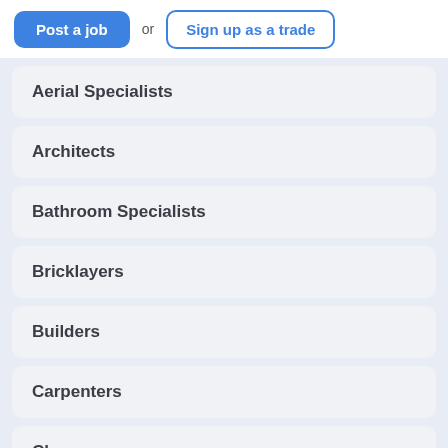[Figure (screenshot): Top navigation bar with 'Post a job' blue button, 'or' text, and 'Sign up as a trade' outlined blue button]
Aerial Specialists
Architects
Bathroom Specialists
Bricklayers
Builders
Carpenters
Cleaners